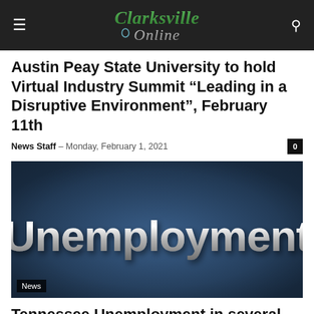Clarksville Online
Austin Peay State University to hold Virtual Industry Summit “Leading in a Disruptive Environment”, February 11th
News Staff – Monday, February 1, 2021
[Figure (photo): Dark blue background with large silver 3D text reading 'Unemployment', with a 'News' badge overlay in the bottom left corner.]
Tennessee Unemployment in several